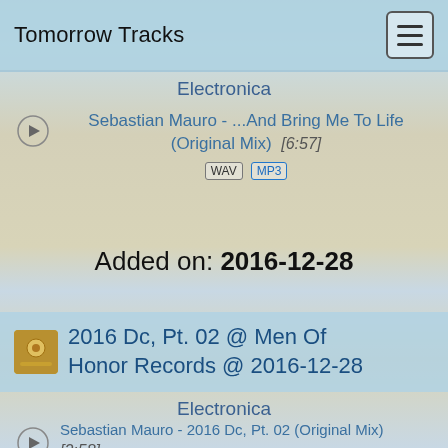Tomorrow Tracks
Electronica
Sebastian Mauro - ...And Bring Me To Life (Original Mix) [6:57]
WAV MP3
Added on: 2016-12-28
2016 Dc, Pt. 02 @ Men Of Honor Records @ 2016-12-28
Electronica
Sebastian Mauro - 2016 Dc, Pt. 02 (Original Mix) [2:58]